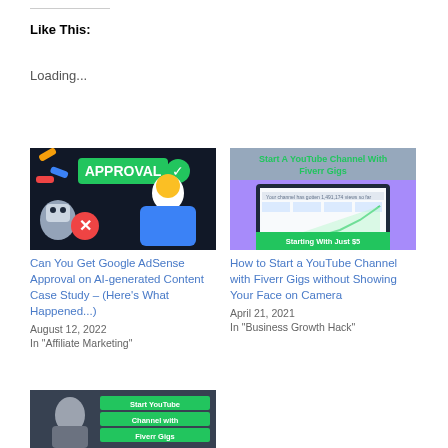Like This:
Loading...
[Figure (photo): Thumbnail image showing APPROVAL text with checkmark and X mark, robots, and a man in blue shirt]
Can You Get Google AdSense Approval on AI-generated Content Case Study – (Here's What Happened...)
August 12, 2022
In "Affiliate Marketing"
[Figure (screenshot): Thumbnail showing 'Start A YouTube Channel With Fiverr Gigs' and 'Starting With Just $5' with laptop showing analytics graph]
How to Start a YouTube Channel with Fiverr Gigs without Showing Your Face on Camera
April 21, 2021
In "Business Growth Hack"
[Figure (photo): Thumbnail showing 'Start YouTube Channel with Fiverr Gigs' text with person visible]